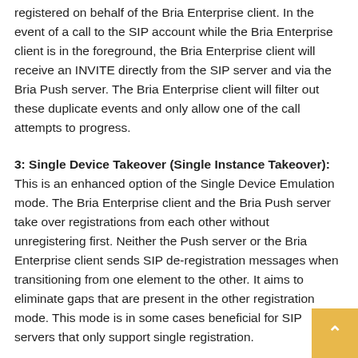registered on behalf of the Bria Enterprise client. In the event of a call to the SIP account while the Bria Enterprise client is in the foreground, the Bria Enterprise client will receive an INVITE directly from the SIP server and via the Bria Push server. The Bria Enterprise client will filter out these duplicate events and only allow one of the call attempts to progress.
3: Single Device Takeover (Single Instance Takeover): This is an enhanced option of the Single Device Emulation mode. The Bria Enterprise client and the Bria Push server take over registrations from each other without unregistering first. Neither the Push server or the Bria Enterprise client sends SIP de-registration messages when transitioning from one element to the other. It aims to eliminate gaps that are present in the other registration mode. This mode is in some cases beneficial for SIP servers that only support single registration.